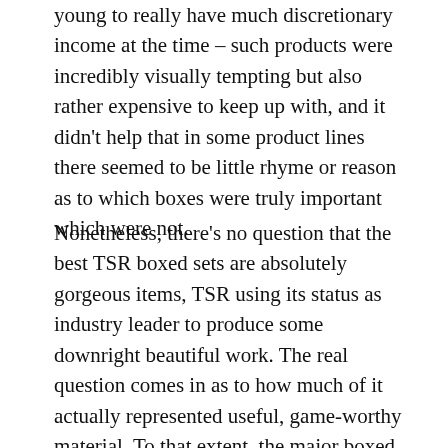young to really have much discretionary income at the time – such products were incredibly visually tempting but also rather expensive to keep up with, and it didn't help that in some product lines there seemed to be little rhyme or reason as to which boxes were truly important which were not.
Nonetheless, there's no question that the best TSR boxed sets are absolutely gorgeous items, TSR using its status as industry leader to produce some downright beautiful work. The real question comes in as to how much of it actually represented useful, game-worthy material. To that extent, the major boxed sets around which the Planescape line was built stand at the head of the pack. I've previously covered the core box, but now it's time to take a look at the rest of the rabble.